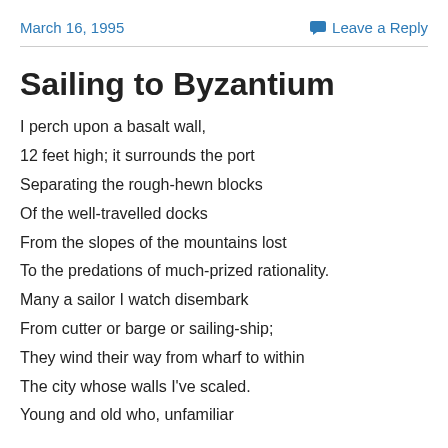March 16, 1995   Leave a Reply
Sailing to Byzantium
I perch upon a basalt wall,
12 feet high; it surrounds the port
Separating the rough-hewn blocks
Of the well-travelled docks
From the slopes of the mountains lost
To the predations of much-prized rationality.
Many a sailor I watch disembark
From cutter or barge or sailing-ship;
They wind their way from wharf to within
The city whose walls I've scaled.
Young and old who, unfamiliar